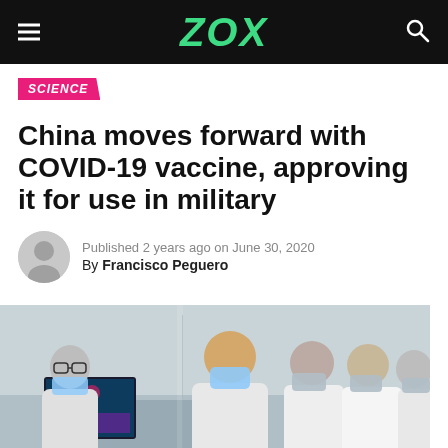ZOX
SCIENCE
China moves forward with COVID-19 vaccine, approving it for use in military
Published 2 years ago on June 30, 2020
By Francisco Peguero
[Figure (photo): People in white lab coats and face masks standing in a laboratory, looking at computer monitors displaying COVID-19 related imagery. A prominent figure (likely Xi Jinping) is shown from behind in the center, with researchers and officials surrounding him.]